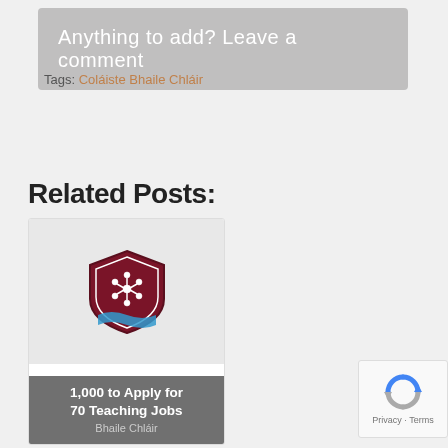[Figure (other): Gray rounded rectangle button: 'Anything to add? Leave a comment']
Tags: Coláiste Bhaile Chláir
Related Posts:
[Figure (other): Card showing school crest shield logo with overlay text '1,000 to Apply for 70 Teaching Jobs' and subtitle 'Bhaile Chláir']
[Figure (other): reCAPTCHA privacy badge bottom right, showing blue/grey circular arrows icon, text 'Privacy · Terms']